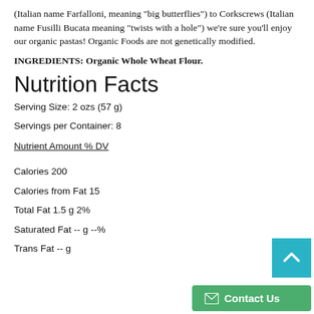(Italian name Farfalloni, meaning "big butterflies") to Corkscrews (Italian name Fusilli Bucata meaning "twists with a hole") we're sure you'll enjoy our organic pastas! Organic Foods are not genetically modified.
INGREDIENTS: Organic Whole Wheat Flour.
Nutrition Facts
Serving Size: 2 ozs (57 g)
Servings per Container: 8
Nutrient Amount % DV
Calories 200
Calories from Fat 15
Total Fat 1.5 g 2%
Saturated Fat -- g --%
Trans Fat -- g